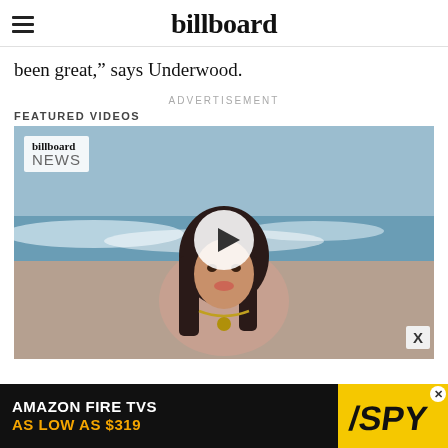billboard
been great," says Underwood.
ADVERTISEMENT
FEATURED VIDEOS
[Figure (photo): Billboard News video thumbnail showing a woman at the beach with wet hair and jewelry, with a play button overlay]
[Figure (other): Amazon Fire TVs advertisement banner: AS LOW AS $319, with SPY logo on yellow background]